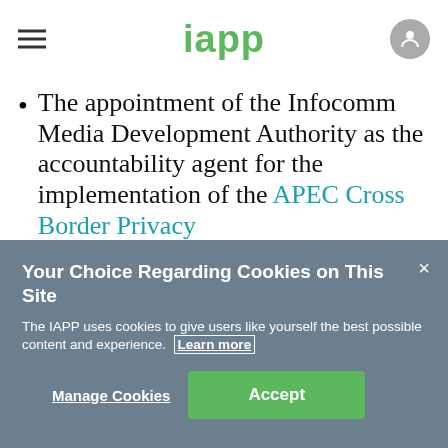iapp
The appointment of the Infocomm Media Development Authority as the accountability agent for the implementation of the APEC Cross Border Privacy
Your Choice Regarding Cookies on This Site
The IAPP uses cookies to give users like yourself the best possible content and experience. Learn more
Manage Cookies  Accept